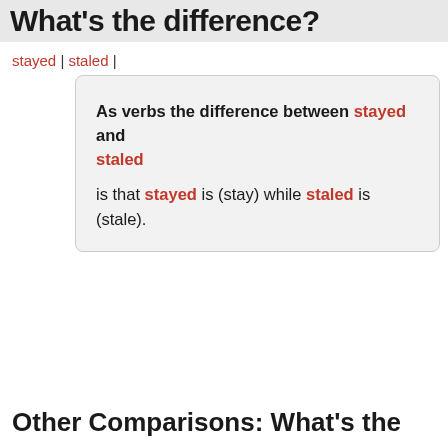What's the difference?
stayed | staled |
As verbs the difference between stayed and staled is that stayed is (stay) while staled is (stale).
Other Comparisons: What's the